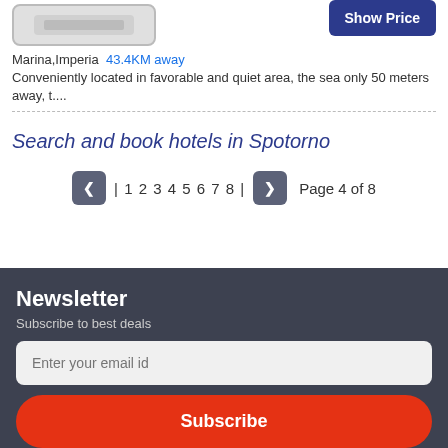[Figure (other): Hotel image placeholder thumbnail]
Marina,Imperia  43.4KM away
Conveniently located in favorable and quiet area, the sea only 50 meters away, t....
Show Price
Search and book hotels in Spotorno
| 1 2 3 4 5 6 7 8 |   Page 4 of 8
Newsletter
Subscribe to best deals
Enter your email id
Subscribe